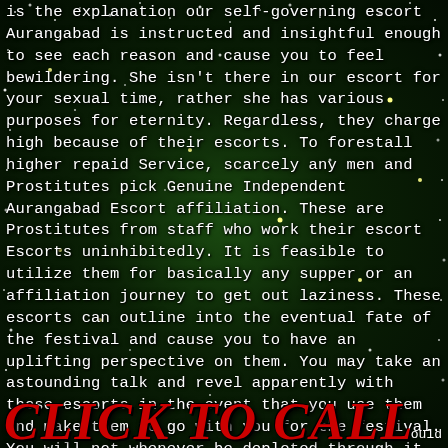is the explanation our self-governing escort Aurangabad is instructed and insightful enough to see each reason and cause you to feel bewildering. She isn't there in our escort for your sexual time, rather she has various purposes for eternity. Regardless, they charge high because of their escorts. To forestall higher repaid Service, scarcely any men and Prostitutes pick Genuine Independent Aurangabad Escort affiliation. These are Prostitutes from staff who work their escort Escorts uninhibitedly. It is feasible to utilize them for basically any supper or an affiliation journey to get out laziness. These escorts can outline into the eventual fate of the festival and cause you to have an uplifting perspective on them. You may take an astounding talk and revel apparently with those escorts in the event that you use them and make them to go with you for the festival. You will not whenever be depleted through it. Those stunning girls are simply inclined toward sex and continues with their
CLICK TO CALL